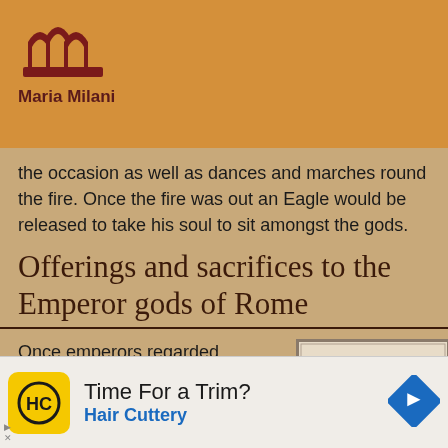Maria Milani
the occasion as well as dances and marches round the fire. Once the fire was out an Eagle would be released to take his soul to sit amongst the gods.
Offerings and sacrifices to the Emperor gods of Rome
Once emperors regarded themselves as divine beings they also expected the associated rites.
[Figure (illustration): Historical illustration showing Roman figures in a sacrificial scene with a bull and robed persons]
Time For a Trim? Hair Cuttery